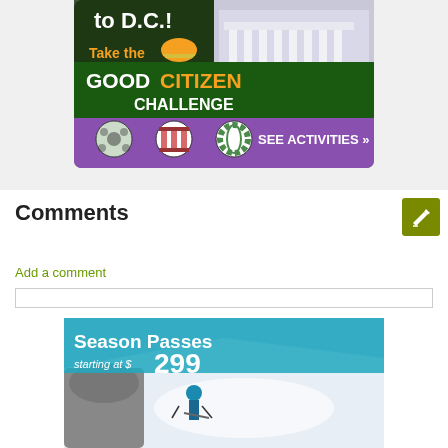[Figure (screenshot): Good Citizen Challenge advertisement banner showing the White House, Capitol dome, text 'to D.C.! Take the GOOD CITIZEN CHALLENGE' with 'SEE ACTIVITIES >>' on purple background with icons]
Comments
[Figure (other): Olive/yellow-green pencil/edit icon button]
Add a comment
[Figure (screenshot): Season Passes advertisement: 'Season Passes starting at $299' with a skier going down a snowy mountain slope]